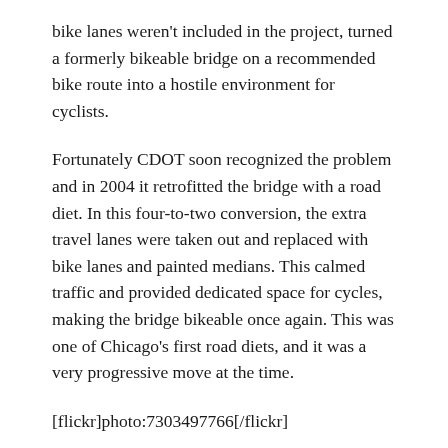bike lanes weren't included in the project, turned a formerly bikeable bridge on a recommended bike route into a hostile environment for cyclists.
Fortunately CDOT soon recognized the problem and in 2004 it retrofitted the bridge with a road diet. In this four-to-two conversion, the extra travel lanes were taken out and replaced with bike lanes and painted medians. This calmed traffic and provided dedicated space for cycles, making the bridge bikeable once again. This was one of Chicago's first road diets, and it was a very progressive move at the time.
[flickr]photo:7303497766[/flickr]
The bike-friendly Damen bridge, after the road diet. Photo by Serge Lubomudrov.